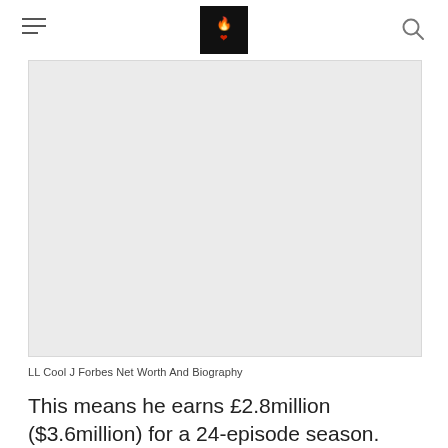[logo] LL Cool J site header with hamburger menu and search icon
[Figure (photo): Large light gray placeholder image area for LL Cool J photo]
LL Cool J Forbes Net Worth And Biography
This means he earns £2.8million ($3.6million) for a 24-episode season.